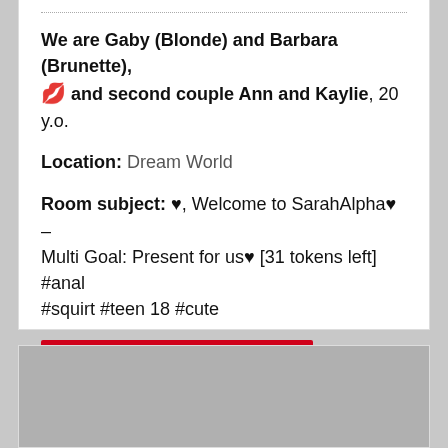We are Gaby (Blonde) and Barbara (Brunette), 💋 and second couple Ann and Kaylie, 20 y.o.
Location: Dream World
Room subject: ♥, Welcome to SarahAlpha♥ – Multi Goal: Present for us♥ [31 tokens left] #anal #squirt #teen 18 #cute
Are You Naked Now ?? >>
[Figure (photo): Gray placeholder image area at the bottom of the page]